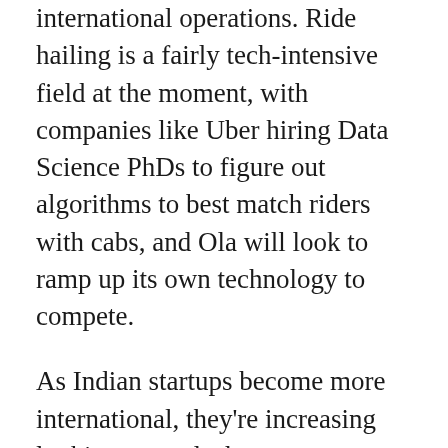international operations. Ride hailing is a fairly tech-intensive field at the moment, with companies like Uber hiring Data Science PhDs to figure out algorithms to best match riders with cabs, and Ola will look to ramp up its own technology to compete.
As Indian startups become more international, they're increasing looking towards the west to set up their tech operations. In 2016, Flipkart had opened an office in Palo Alto, and subsidiary Myntra not only has a small office in Silicon Valley after an acquisition, but is also looking to set up a small team of data scientists in the area. InMobi has had an office in the US since 2013. Paytm, of course, has its Paytm Labs office in Canada which works on several aspects of Paytm's consumer-facing tech. And with Ola becoming the latest